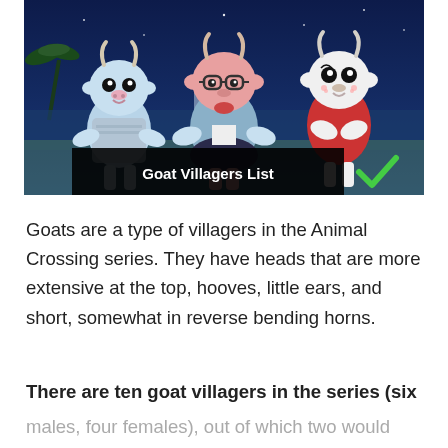[Figure (screenshot): Screenshot from Animal Crossing video game showing three goat villager characters standing together at night. Left character is light blue wearing a grey patterned sweater, center character is pink wearing glasses and a blue jacket with dark skirt, right character is white wearing a red jacket. Text overlay reads 'Goat Villagers List' with a green checkmark.]
Goats are a type of villagers in the Animal Crossing series. They have heads that are more extensive at the top, hooves, little ears, and short, somewhat in reverse bending horns.
There are ten goat villagers in the series (six males, four females), out of which two would